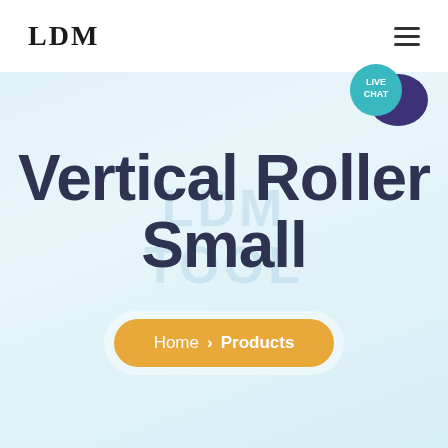LDM
[Figure (logo): Live Chat bubble icon with teal circle and dark purple speech bubble, labeled LIVE CHAT]
Vertical Roller Small
Home > Products